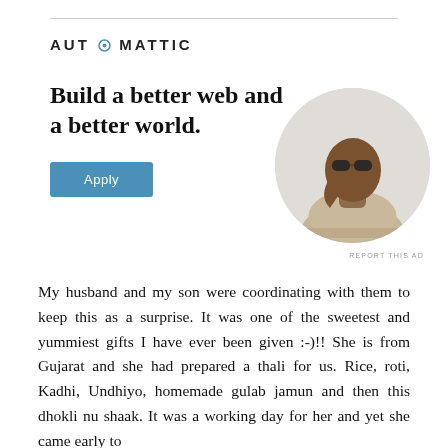[Figure (logo): Automattic logo with stylized 'O' icon in blue]
Build a better web and a better world.
[Figure (photo): A man with glasses and beard, resting his chin on his hand, thinking, in a circular cropped photo]
REPORT THIS AD
My husband and my son were coordinating with them to keep this as a surprise. It was one of the sweetest and yummiest gifts I have ever been given :-)!! She is from Gujarat and she had prepared a thali for us. Rice, roti, Kadhi, Undhiyo, homemade gulab jamun and then this dhokli nu shaak. It was a working day for her and yet she came early to